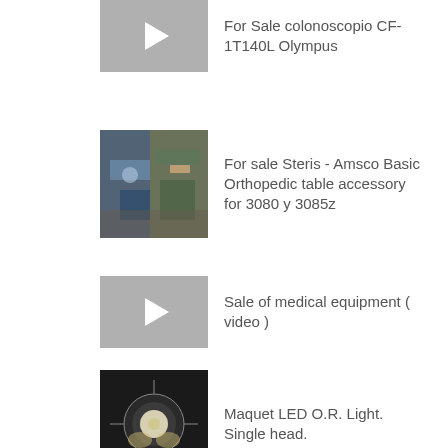For Sale colonoscopio CF-1T140L Olympus
For sale Steris - Amsco Basic Orthopedic table accessory for 3080 y 3085z
Sale of medical equipment ( video )
Maquet LED O.R. Light. Single head.